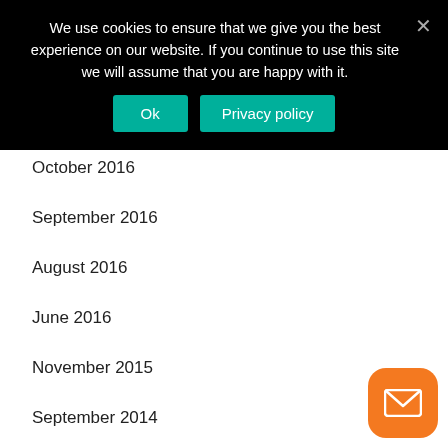We use cookies to ensure that we give you the best experience on our website. If you continue to use this site we will assume that you are happy with it.
October 2016
September 2016
August 2016
June 2016
November 2015
September 2014
March 2014
December 2012
November 2012